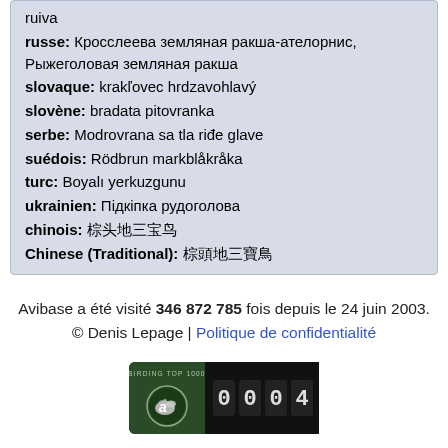ruiva
russe: Кросслеева земляная ракша-ателорнис, Рыжеголовая земляная ракша
slovaque: krakľovec hrdzavohlavý
slovène: bradata pitovranka
serbe: Modrovrana sa tla riđe glave
suédois: Rödbrun markblåkråka
turc: Boyalı yerkuzgunu
ukrainien: Підкіпка рудоголова
chinois: 棕头地三宝鸟
Chinese (Traditional): 棕頭地三寶鳥
Avibase a été visité 346 872 785 fois depuis le 24 juin 2003. © Denis Lepage | Politique de confidentialité
[Figure (logo): Birding Top 1000 badge showing rank 0004 with a bird logo on dark green/black background]